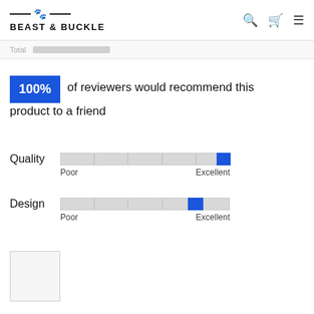BEAST & BUCKLE
100% of reviewers would recommend this product to a friend
Quality — Poor to Excellent (bar at maximum)
Design — Poor to Excellent (bar near maximum)
[Figure (illustration): Small empty image thumbnail box]